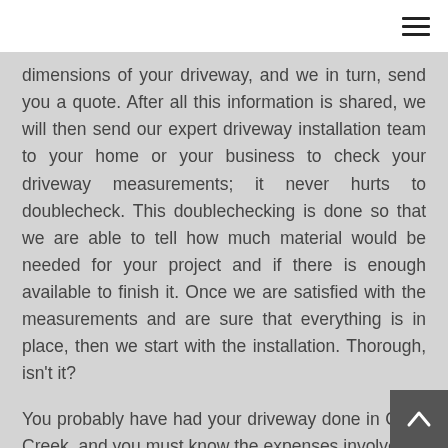dimensions of your driveway, and we in turn, send you a quote. After all this information is shared, we will then send our expert driveway installation team to your home or your business to check your driveway measurements; it never hurts to doublecheck. This doublechecking is done so that we are able to tell how much material would be needed for your project and if there is enough available to finish it. Once we are satisfied with the measurements and are sure that everything is in place, then we start with the installation. Thorough, isn't it?
You probably have had your driveway done in Cave Creek, and you must know the expenses involved in carrying out a project like that, if you don't, we'll tell you, it is quite pricey, but this is where the Driveway Pavers Cave Creek comes in,